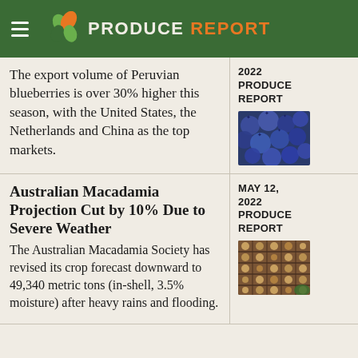PRODUCE REPORT
The export volume of Peruvian blueberries is over 30% higher this season, with the United States, the Netherlands and China as the top markets.
2022
PRODUCE
REPORT
[Figure (photo): Close-up photo of fresh dark blueberries]
Australian Macadamia Projection Cut by 10% Due to Severe Weather
The Australian Macadamia Society has revised its crop forecast downward to 49,340 metric tons (in-shell, 3.5% moisture) after heavy rains and flooding.
MAY 12, 2022
PRODUCE
REPORT
[Figure (photo): Photo of macadamia nuts drying on trays outdoors]